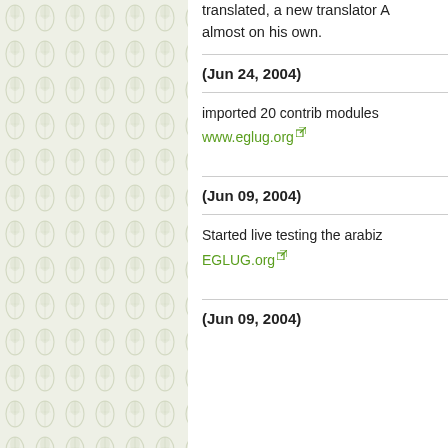translated, a new translator A almost on his own.
(Jun 24, 2004)
imported 20 contrib modules www.eglug.org
(Jun 09, 2004)
Started live testing the arabiz EGLUG.org
(Jun 09, 2004)